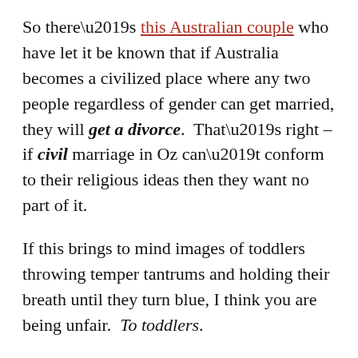So there’s this Australian couple who have let it be known that if Australia becomes a civilized place where any two people regardless of gender can get married, they will get a divorce. That’s right – if civil marriage in Oz can’t conform to their religious ideas then they want no part of it.
If this brings to mind images of toddlers throwing temper tantrums and holding their breath until they turn blue, I think you are being unfair. To toddlers.
I love that they open their position statement with, “As Christians…” That always reminds me of Bill Maher’s famous take: they think we’re hearing that they have the moral high ground, but what we’re really hearing is that